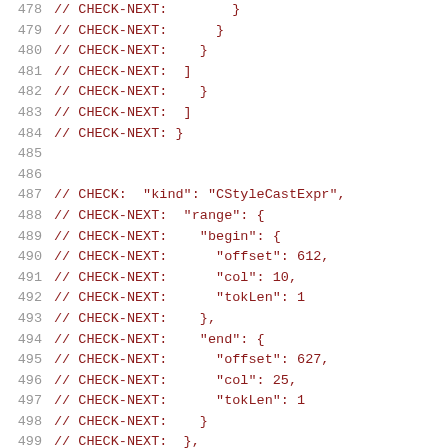478  // CHECK-NEXT:        }
479  // CHECK-NEXT:      }
480  // CHECK-NEXT:    }
481  // CHECK-NEXT:  ]
482  // CHECK-NEXT:    }
483  // CHECK-NEXT:  ]
484  // CHECK-NEXT: }
485
486
487  // CHECK:  "kind": "CStyleCastExpr",
488  // CHECK-NEXT:  "range": {
489  // CHECK-NEXT:    "begin": {
490  // CHECK-NEXT:      "offset": 612,
491  // CHECK-NEXT:      "col": 10,
492  // CHECK-NEXT:      "tokLen": 1
493  // CHECK-NEXT:    },
494  // CHECK-NEXT:    "end": {
495  // CHECK-NEXT:      "offset": 627,
496  // CHECK-NEXT:      "col": 25,
497  // CHECK-NEXT:      "tokLen": 1
498  // CHECK-NEXT:    }
499  // CHECK-NEXT:  },